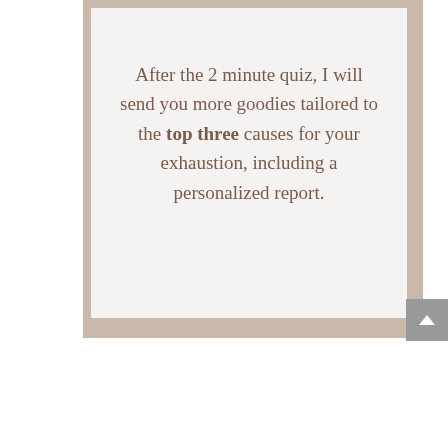After the 2 minute quiz, I will send you more goodies tailored to the top three causes for your exhaustion, including a personalized report.